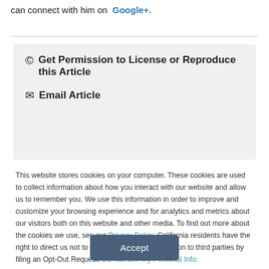can connect with him on Google+.
© Get Permission to License or Reproduce this Article
✉ Email Article
This website stores cookies on your computer. These cookies are used to collect information about how you interact with our website and allow us to remember you. We use this information in order to improve and customize your browsing experience and for analytics and metrics about our visitors both on this website and other media. To find out more about the cookies we use, see our Privacy Policy. California residents have the right to direct us not to sell their personal information to third parties by filing an Opt-Out Request: Do Not Sell My Personal Info.
Accept